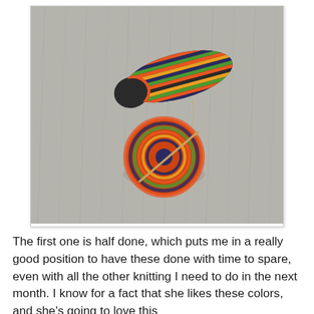[Figure (photo): A photograph on a grey carpet showing a partially knitted striped sock in multicolors (orange, blue, green, black) at the top, and a ball of matching multicolored yarn with a knitting needle through it at the bottom.]
The first one is half done, which puts me in a really good position to have these done with time to spare, even with all the other knitting I need to do in the next month.  I know for a fact that she likes these colors, and she's going to love this